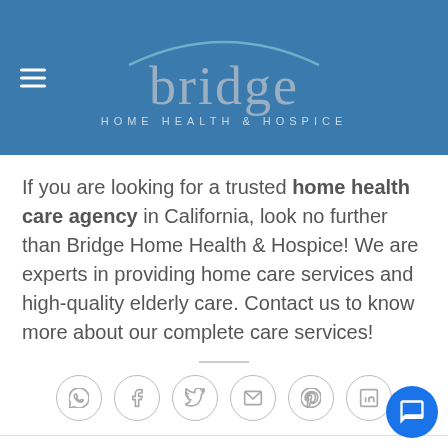[Figure (logo): Bridge Home Health & Hospice logo with arc graphic on blue background]
If you are looking for a trusted home health care agency in California, look no further than Bridge Home Health & Hospice! We are experts in providing home care services and high-quality elderly care. Contact us to know more about our complete care services!
[Figure (other): Social sharing icons row: WhatsApp, Facebook, Twitter, Email, Pinterest, LinkedIn]
This entry was posted in Uncategorized. Bookmark the permal…